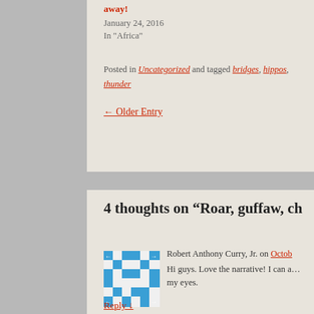away!
January 24, 2016
In "Africa"
Posted in Uncategorized and tagged bridges, hippos, thunder
← Older Entry
4 thoughts on “Roar, guffaw, ch…
Robert Anthony Curry, Jr. on Octob…
Hi guys. Love the narrative! I can a… my eyes.
Reply ↓